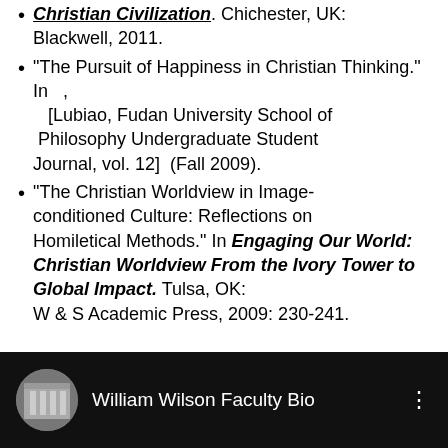Christian Civilization. Chichester, UK: Blackwell, 2011.
"The Pursuit of Happiness in Christian Thinking." In , [Lubiao, Fudan University School of Philosophy Undergraduate Student Journal, vol. 12] (Fall 2009).
"The Christian Worldview in Image-conditioned Culture: Reflections on Homiletical Methods." In Engaging Our World: Christian Worldview From the Ivory Tower to Global Impact. Tulsa, OK: W & S Academic Press, 2009: 230-241.
[Figure (screenshot): YouTube-style video bar with circular thumbnail showing a building with columns, title 'William Wilson Faculty Bio', and a three-dot menu icon, on a black background.]